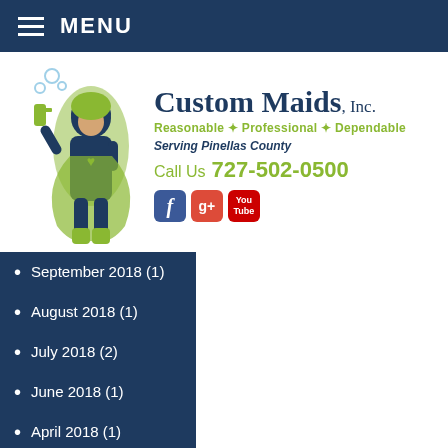MENU
[Figure (logo): Custom Maids Inc. logo with superhero maid figure in navy and lime green, tagline 'Reasonable * Professional * Dependable', 'Serving Pinellas County', phone number 727-502-0500, and social media icons for Facebook, Google+, and YouTube]
September 2018 (1)
August 2018 (1)
July 2018 (2)
June 2018 (1)
April 2018 (1)
March 2018 (2)
February 2018 (1)